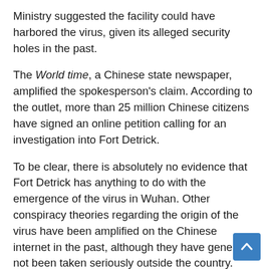Ministry suggested the facility could have harbored the virus, given its alleged security holes in the past.
The World time, a Chinese state newspaper, amplified the spokesperson's claim. According to the outlet, more than 25 million Chinese citizens have signed an online petition calling for an investigation into Fort Detrick.
To be clear, there is absolutely no evidence that Fort Detrick has anything to do with the emergence of the virus in Wuhan. Other conspiracy theories regarding the origin of the virus have been amplified on the Chinese internet in the past, although they have generally not been taken seriously outside the country.
It's also worth noting that in the past, the Chinese government has vigorously denied the theory of lab leaks, claiming that the virus's genome indicated that it evolved naturally rather than artificially. In this sense, the spokesperson's call for an investigation may not be in good faith; instead, it could be understood as encouraging a redirect from an investigation at...